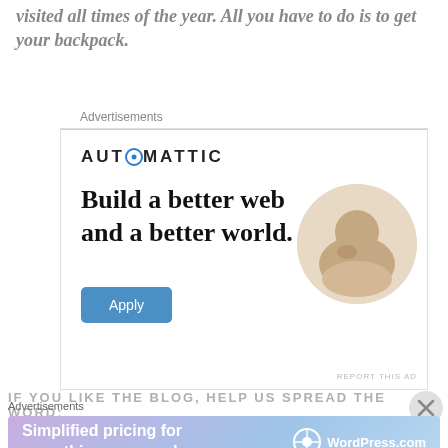visited all times of the year. All you have to do is to get your backpack.
Advertisements
[Figure (illustration): Automattic advertisement banner featuring the logo, headline 'Build a better web and a better world.', an Apply button, and a circular photo of a man thinking.]
IF YOU LIKE THE BLOG, HELP US SPREAD THE WORD:
Advertisements
[Figure (illustration): WordPress.com advertisement with gradient background and text 'Simplified pricing for everything you need.']